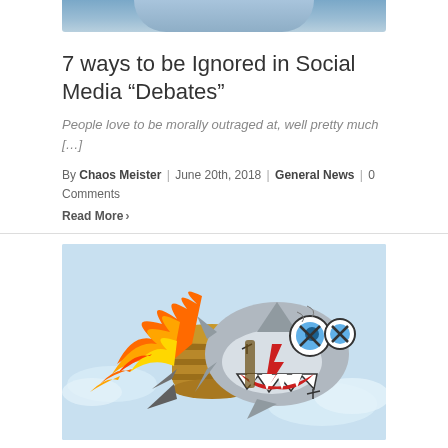[Figure (photo): Top portion of a person in blue shirt with hands raised, cropped at the top of the page]
7 ways to be Ignored in Social Media "Debates"
People love to be morally outraged at, well pretty much [...]
By Chaos Meister | June 20th, 2018 | General News | 0 Comments
Read More >
[Figure (illustration): Cartoon illustration of a zombie shark with a rocket/barrel strapped to its back with flames shooting out, flying through a light blue sky with clouds]